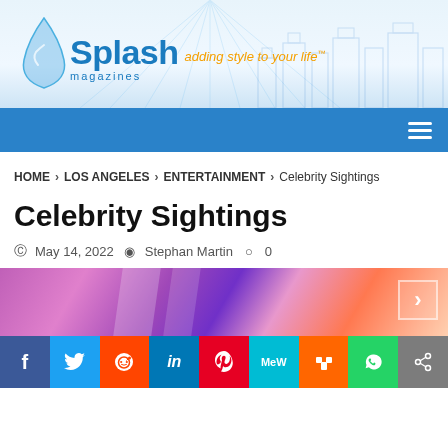[Figure (logo): Splash Magazines logo with water drop graphic, tagline 'adding style to your life' in orange cursive, city skyline silhouette in background]
Navigation bar with hamburger menu icon
HOME > LOS ANGELES > ENTERTAINMENT > Celebrity Sightings
Celebrity Sightings
May 14, 2022  Stephan Martin  0
[Figure (photo): Colorful venue interior with purple and pink lighting, glass panels]
[Figure (infographic): Social sharing buttons bar: Facebook, Twitter, Reddit, LinkedIn, Pinterest, MeWe, Mix, WhatsApp, Share]